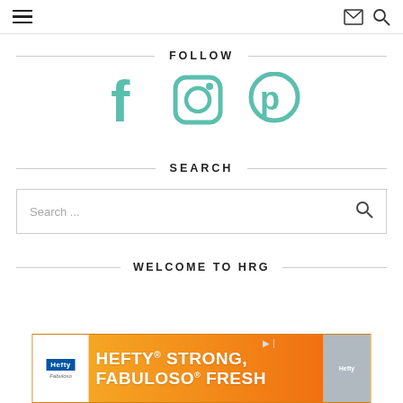Navigation bar with hamburger menu, mail icon, and search icon
FOLLOW
[Figure (illustration): Three social media icons in teal/mint color: Facebook (f), Instagram (camera), Pinterest (P)]
SEARCH
Search ...
WELCOME TO HRG
[Figure (infographic): Hefty advertisement banner: HEFTY STRONG, FABULOSO FRESH]